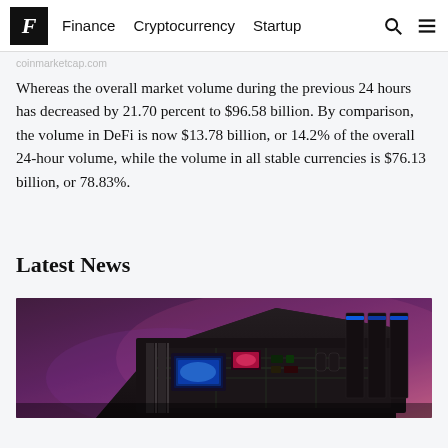F | Finance  Cryptocurrency  Startup
coinmarketcap.com
Whereas the overall market volume during the previous 24 hours has decreased by 21.70 percent to $96.58 billion. By comparison, the volume in DeFi is now $13.78 billion, or 14.2% of the overall 24-hour volume, while the volume in all stable currencies is $76.13 billion, or 78.83%.
Latest News
[Figure (photo): Close-up photo of a computer circuit board with colorful lights (blue, pink, red) against a purple/dark background — likely representing cryptocurrency mining hardware.]